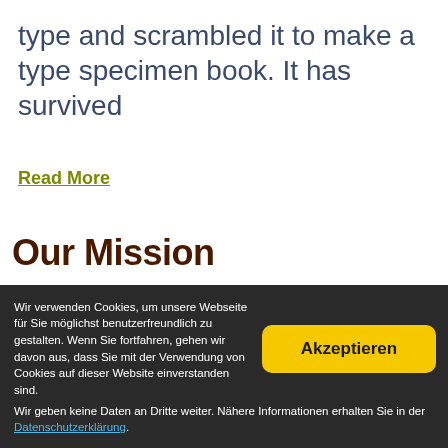type and scrambled it to make a type specimen book. It has survived
Read More
Our Mission
[Figure (photo): Three puppies resting together in a dog bed, a mix of breeds with merle and white-brown coloring]
Wir verwenden Cookies, um unsere Webseite für Sie möglichst benutzerfreundlich zu gestalten. Wenn Sie fortfahren, gehen wir davon aus, dass Sie mit der Verwendung von Cookies auf dieser Website einverstanden sind. Wir geben keine Daten an Dritte weiter. Nähere Informationen erhalten Sie in der Datenschutzerklärung.